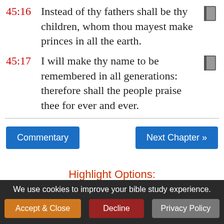45:16 Instead of thy fathers shall be thy children, whom thou mayest make princes in all the earth.
45:17 I will make thy name to be remembered in all generations: therefore shall the people praise thee for ever and ever.
Commentary | Next Chapter »
Highlight Options:
We use cookies to improve your bible study experience. Accept & Close | Decline | Privacy Policy